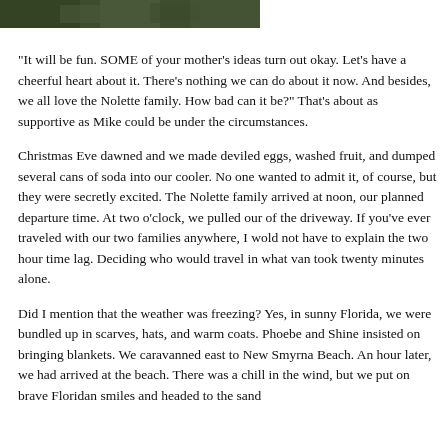[Figure (photo): Partial photo showing dark green foliage/outdoor scene, cropped at top of page]
"It will be fun. SOME of your mother's ideas turn out okay. Let's have a cheerful heart about it. There's nothing we can do about it now. And besides, we all love the Nolette family. How bad can it be?" That's about as supportive as Mike could be under the circumstances.
Christmas Eve dawned and we made deviled eggs, washed fruit, and dumped several cans of soda into our cooler. No one wanted to admit it, of course, but they were secretly excited. The Nolette family arrived at noon, our planned departure time. At two o'clock, we pulled our of the driveway. If you've ever traveled with our two families anywhere, I wold not have to explain the two hour time lag. Deciding who would travel in what van took twenty minutes alone.
Did I mention that the weather was freezing? Yes, in sunny Florida, we were bundled up in scarves, hats, and warm coats. Phoebe and Shine insisted on bringing blankets. We caravanned east to New Smyrna Beach. An hour later, we had arrived at the beach. There was a chill in the wind, but we put on brave Floridan smiles and headed to the sand